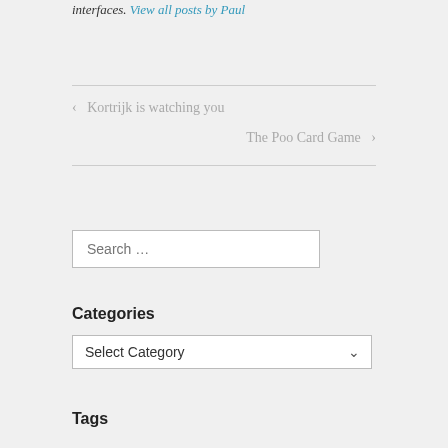interfaces. View all posts by Paul
‹ Kortrijk is watching you
The Poo Card Game ›
Search …
Categories
Select Category
Tags